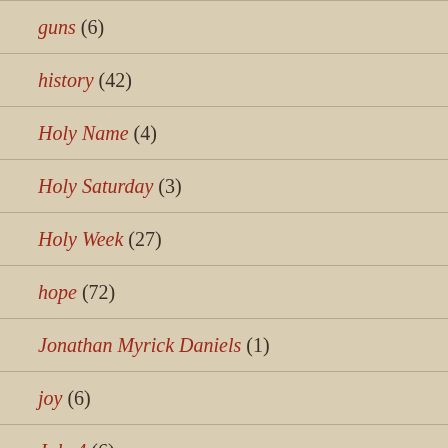guns (6)
history (42)
Holy Name (4)
Holy Saturday (3)
Holy Week (27)
hope (72)
Jonathan Myrick Daniels (1)
joy (6)
July 4 (6)
Juneteenth (2)